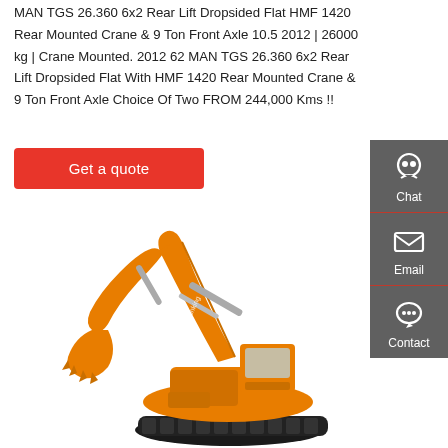MAN TGS 26.360 6x2 Rear Lift Dropsided Flat HMF 1420 Rear Mounted Crane & 9 Ton Front Axle 10.5 2012 | 26000 kg | Crane Mounted. 2012 62 MAN TGS 26.360 6x2 Rear Lift Dropsided Flat With HMF 1420 Rear Mounted Crane & 9 Ton Front Axle Choice Of Two FROM 244,000 Kms !!
[Figure (other): Red 'Get a quote' button]
[Figure (other): Sidebar with Chat, Email, Contact icons on dark grey background]
[Figure (photo): Orange tracked excavator / crawler excavator on white background]